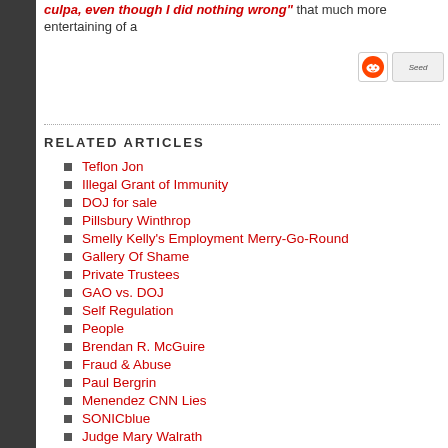culpa, even though I did nothing wrong" that much more entertaining of a
RELATED ARTICLES
Teflon Jon
Illegal Grant of Immunity
DOJ for sale
Pillsbury Winthrop
Smelly Kelly's Employment Merry-Go-Round
Gallery Of Shame
Private Trustees
GAO vs. DOJ
Self Regulation
People
Brendan R. McGuire
Fraud & Abuse
Paul Bergrin
Menendez CNN Lies
SONICblue
Judge Mary Walrath
Roberta DeAngelis